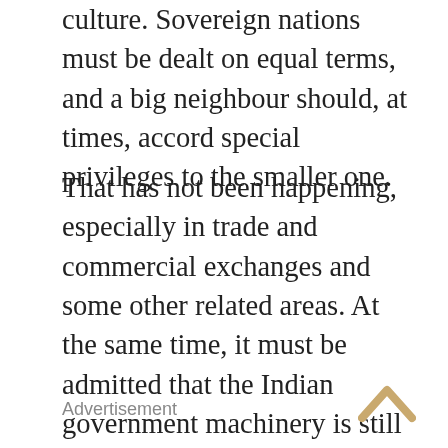culture. Sovereign nations must be dealt on equal terms, and a big neighbour should, at times, accord special privileges to the smaller one.
That has not been happening, especially in trade and commercial exchanges and some other related areas. At the same time, it must be admitted that the Indian government machinery is still slow in moving. The Ministry of External Affairs (MEA) can do only so much. It requires quick support from other ministries like the Ministry of Commerce, Foreign Trade, Water Transportations, and also from State Governments especially West Bengal. This is not necessarily due to mal intensions towards Dhaka. These disconnections which must be improved.
Advertisement